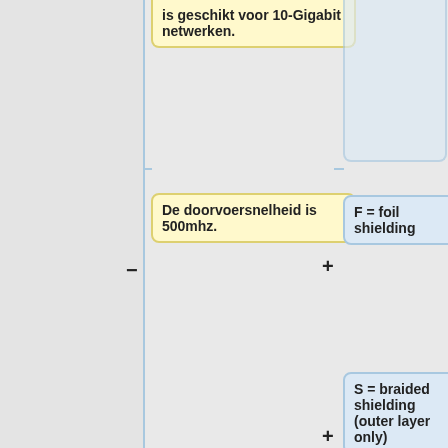[Figure (flowchart): A flowchart showing network cable categories (CAT7) and shielding terminology. Left column contains yellow boxes with Dutch text about cable specifications. Right column contains blue boxes with shielding type definitions (F = foil shielding, S = braided shielding, TP = twisted pair). Connected by lines and plus/minus symbols.]